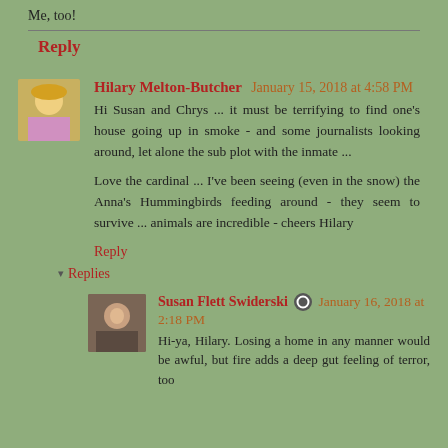Me, too!
Reply
Hilary Melton-Butcher  January 15, 2018 at 4:58 PM
Hi Susan and Chrys ... it must be terrifying to find one's house going up in smoke - and some journalists looking around, let alone the sub plot with the inmate ...

Love the cardinal ... I've been seeing (even in the snow) the Anna's Hummingbirds feeding around - they seem to survive ... animals are incredible - cheers Hilary
Reply
Replies
Susan Flett Swiderski  January 16, 2018 at 2:18 PM
Hi-ya, Hilary. Losing a home in any manner would be awful, but fire adds a deep gut feeling of terror, too